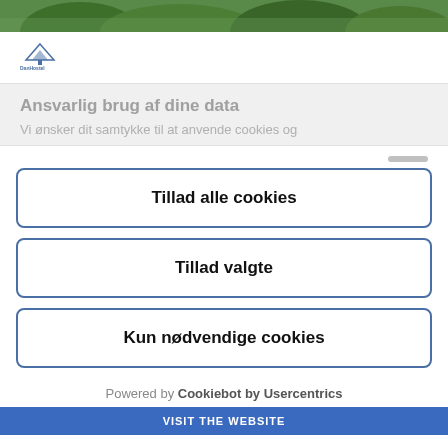[Figure (photo): Photo strip of trees/nature at the top of the page]
[Figure (logo): DanHostel logo with triangle/tent icon and text]
Ansvarlig brug af dine data
Vi ønsker dit samtykke til at anvende cookies og
Tillad alle cookies
Tillad valgte
Kun nødvendige cookies
Powered by Cookiebot by Usercentrics
VISIT THE WEBSITE